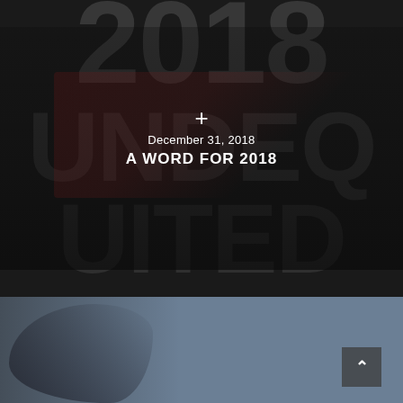[Figure (photo): Dark-toned website screenshot showing a car racing image in the background with large overlaid text '2018', 'UNDEQ', 'UITED' in gray, a white plus symbol, date 'December 31, 2018' and bold title 'A WORD FOR 2018' in white centered text. Bottom half shows a blue-gray photo with a dark figure and a scroll-up button.]
December 31, 2018
A WORD FOR 2018